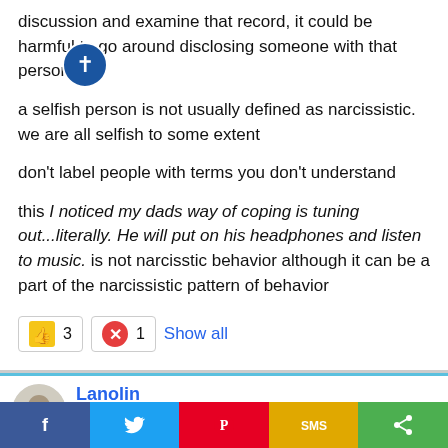discussion and examine that record, it could be harmful to go around disclosing someone with that personal by
a selfish person is not usually defined as narcissistic. we are all selfish to some extent
don't label people with terms you don't understand
this I noticed my dads way of coping is tuning out...literally. He will put on his headphones and listen to music. is not narcisstic behavior although it can be a part of the narcissistic pattern of behavior
[Figure (infographic): Reaction bar with thumbs up icon showing 3 likes, red X icon showing 1 dislike, and Show all link]
Lanolin
Well-known member
[Figure (infographic): Social share bar at bottom with Facebook, Twitter, Pinterest, SMS, and share icons]